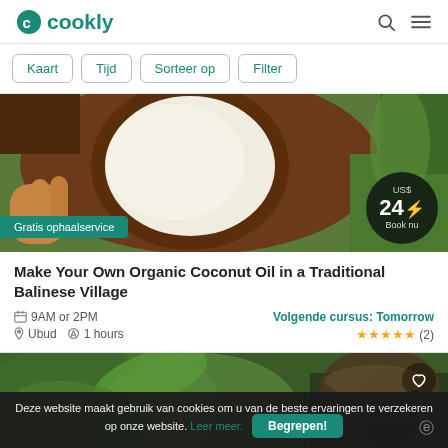cookly
Kaart
Tijd
Sorteer op
Filter
[Figure (photo): Coconut cut open showing white flesh, held by a hand, green grass background. Price badge: US$ 24 Book nu. Badge: Gratis ophaalservice.]
Make Your Own Organic Coconut Oil in a Traditional Balinese Village
9AM or 2PM  Ubud  1 hours  Volgende cursus: Tomorrow  ★★★★★ (2)
[Figure (photo): Green forest / tropical scene, second card image, with heart bookmark icon.]
Deze website maakt gebruik van cookies om u van de beste ervaringen te verzekeren op onze website. Leer meer. Begrepen!